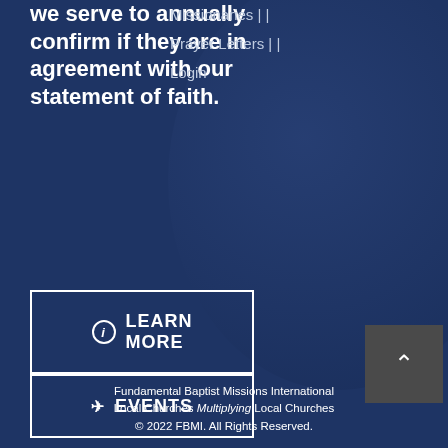we serve to annually confirm if they are in agreement with our statement of faith.
Missionaries |
Prayer Letters |
Login
LEARN MORE
EVENTS
Fundamental Baptist Missions International Local Churches Multiplying Local Churches © 2022 FBMI. All Rights Reserved.